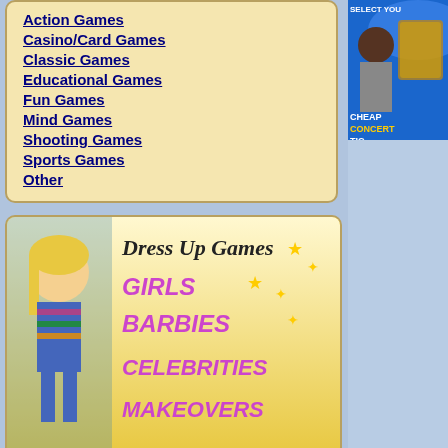Action Games
Casino/Card Games
Classic Games
Educational Games
Fun Games
Mind Games
Shooting Games
Sports Games
Other
[Figure (illustration): Dress Up Games banner with cartoon girl, text: GIRLS BARBIES CELEBRITIES MAKEOVERS]
Partners
HotGossip.com
Free Kids Games
Soccer Games
Jive Cat Cafe
More ROMs
[Figure (photo): Cheap Concert Tickets banner with rapper 50 Cent on blue background, text: SELECT YOUR CHEAP CONCERT TICKETS]